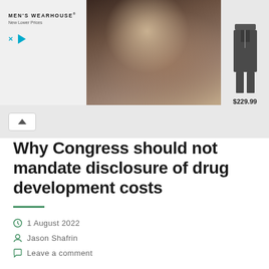[Figure (photo): Men's Wearhouse advertisement banner showing a couple in wedding attire (man in dark suit, woman in white dress) in the center, a man in a gray suit on the right priced at $229.99, and the Men's Wearhouse logo with 'New Lower Prices' on the left. Close (X) and play button icons are shown below the logo.]
Why Congress should not mandate disclosure of drug development costs
1 August 2022
Jason Shafrin
Leave a comment